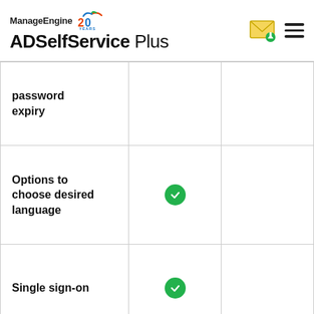ManageEngine 20 Years ADSelfService Plus
| Feature | Col2 | Col3 |
| --- | --- | --- |
| password expiry |  |  |
| Options to choose desired language | ✓ |  |
| Single sign-on | ✓ |  |
| Resetting passwords |  |  |